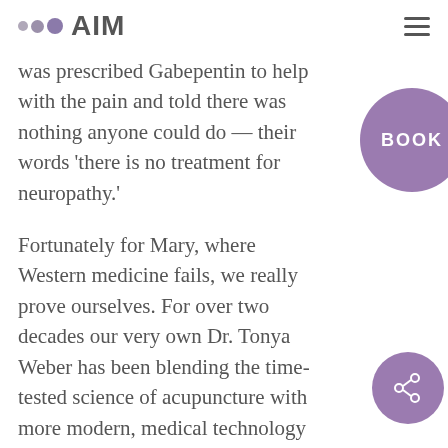AIM
was prescribed Gabepentin to help with the pain and told there was nothing anyone could do — their words 'there is no treatment for neuropathy.'
[Figure (other): Purple circular BOOK button]
Fortunately for Mary, where Western medicine fails, we really prove ourselves. For over two decades our very own Dr. Tonya Weber has been blending the time-tested science of acupuncture with more modern, medical technology to design a real solution for peripheral neuropathy that doesn't involve invasive surgeries or prescription
[Figure (other): Purple circular share button with share icon]